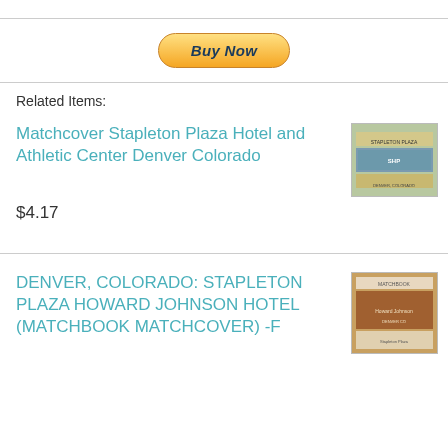[Figure (other): Buy Now PayPal button]
Related Items:
Matchcover Stapleton Plaza Hotel and Athletic Center Denver Colorado
[Figure (photo): Matchcover for Stapleton Plaza Hotel and Athletic Center Denver Colorado]
$4.17
DENVER, COLORADO: STAPLETON PLAZA HOWARD JOHNSON HOTEL (MATCHBOOK MATCHCOVER) -F
[Figure (photo): Matchcover for Denver Colorado Stapleton Plaza Howard Johnson Hotel]